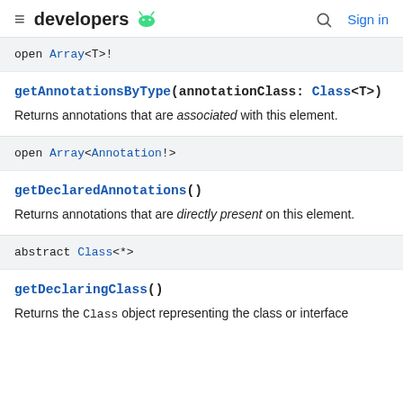developers [android logo]   [search]   Sign in
open Array<T>!
getAnnotationsByType(annotationClass: Class<T>)
Returns annotations that are associated with this element.
open Array<Annotation!>
getDeclaredAnnotations()
Returns annotations that are directly present on this element.
abstract Class<*>
getDeclaringClass()
Returns the Class object representing the class or interface